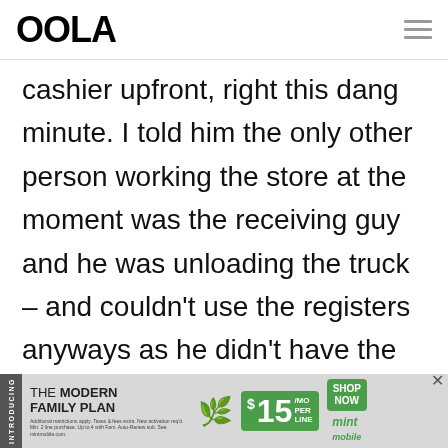OOLA
cashier uptront, right this dang minute. I told him the only other person working the store at the moment was the receiving guy and he was unloading the truck – and couldn't use the registers anyways as he didn't have the codes to the registers. I was the only cashier and
[Figure (other): Mint Mobile advertisement banner: 'INTRODUCING THE MODERN FAMILY PLAN FROM $15/MO PER LINE SHOP NOW mint mobile']